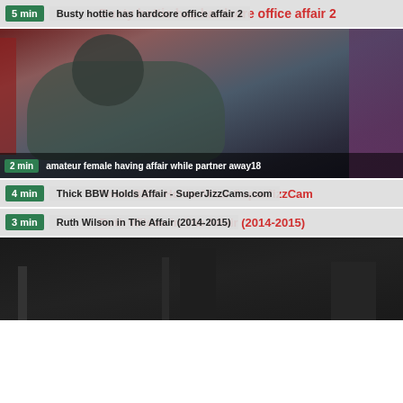[Figure (screenshot): Video thumbnail listing page showing adult video titles with duration badges and thumbnail images]
5 min | Busty hottie has hardcore office affair 2
[Figure (photo): Video thumbnail of amateur scene]
2 min | amateur female having affair while partner away18
4 min | Thick BBW Holds Affair - SuperJizzCams.com
3 min | Ruth Wilson in The Affair (2014-2015)
[Figure (photo): Dark video thumbnail at bottom of page]